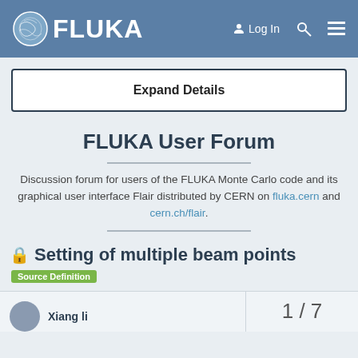FLUKA — Log In
Expand Details
FLUKA User Forum
Discussion forum for users of the FLUKA Monte Carlo code and its graphical user interface Flair distributed by CERN on fluka.cern and cern.ch/flair.
Setting of multiple beam points
Source Definition
Xiang li
1 / 7